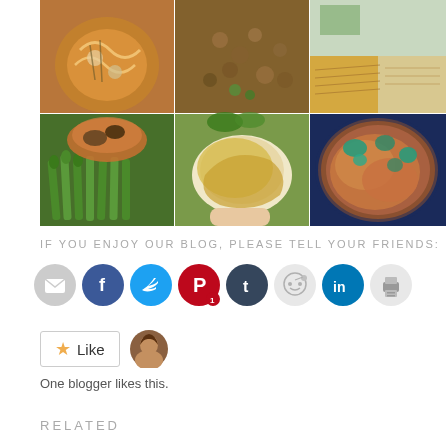[Figure (photo): 3x2 grid of food photos: soup with noodles, ground meat dish, pasta in containers, braised meat with asparagus, baked dish in bowl, glazed dish with herbs on plate]
IF YOU ENJOY OUR BLOG, PLEASE TELL YOUR FRIENDS:
[Figure (infographic): Social share buttons: email, Facebook, Twitter, Pinterest (with badge 1), Tumblr, Reddit, LinkedIn, Print]
[Figure (infographic): Like button with star icon and blogger avatar photo]
One blogger likes this.
RELATED